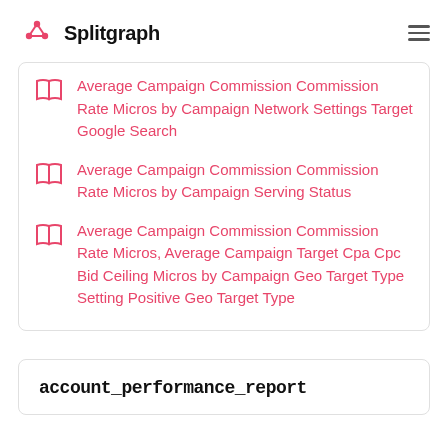Splitgraph
Average Campaign Commission Commission Rate Micros by Campaign Network Settings Target Google Search
Average Campaign Commission Commission Rate Micros by Campaign Serving Status
Average Campaign Commission Commission Rate Micros, Average Campaign Target Cpa Cpc Bid Ceiling Micros by Campaign Geo Target Type Setting Positive Geo Target Type
account_performance_report